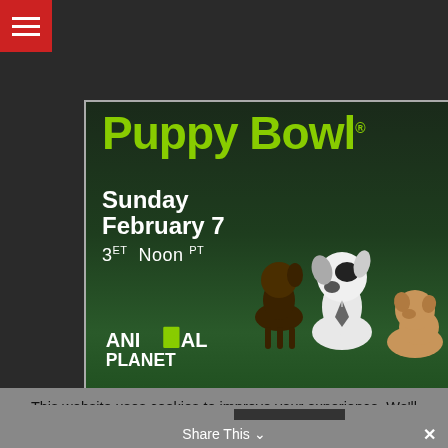[Figure (screenshot): Advertisement banner for Animal Planet Puppy Bowl. Shows text 'Puppy Bowl', 'Sunday February 7', '3ET Noon PT', Animal Planet logo, three puppies on green turf background, and text 'FREE PREVIEW UNTIL FEBRUARY 24']
This website uses cookies to improve your experience. We'll assume you're ok with this, but you can opt-out if you wish.
Cookie settings
ACCEPT
Share This